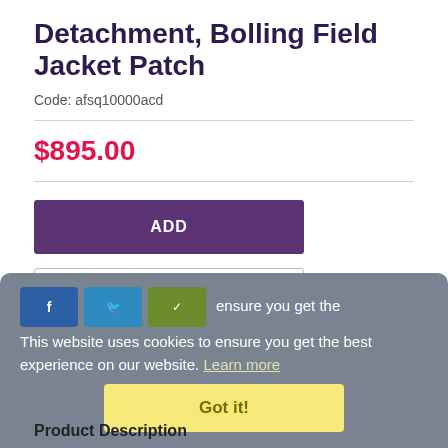Detachment, Bolling Field Jacket Patch
Code: afsq10000acd
$895.00
ADD
Add To Wish List
This website uses cookies to ensure you get the best experience on our website. Learn more
Got it!
Product Description